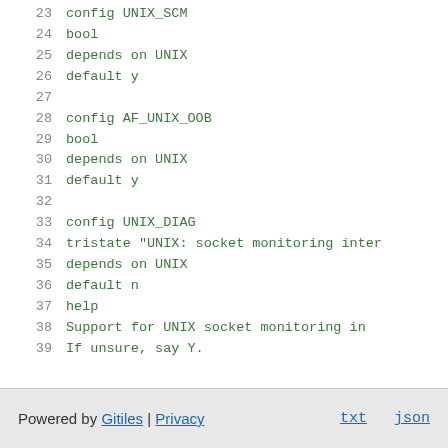23  config UNIX_SCM
24          bool
25          depends on UNIX
26          default y
27
28  config   AF_UNIX_OOB
29          bool
30          depends on UNIX
31          default y
32
33  config UNIX_DIAG
34          tristate "UNIX: socket monitoring inter..."
35          depends on UNIX
36          default n
37          help
38              Support for UNIX socket monitoring in...
39              If unsure, say Y.
Powered by Gitiles | Privacy    txt  json